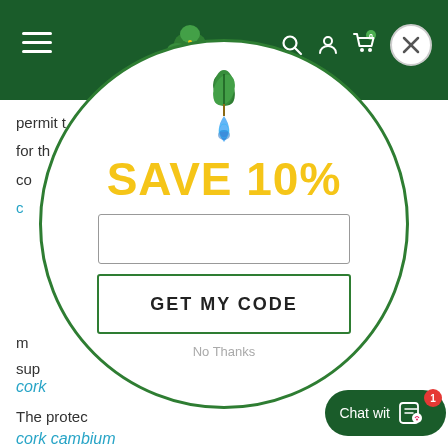[Figure (screenshot): Green header navigation bar with hamburger menu icon on left, tree logo in center, and search/account/cart icons on right with 0 badge]
permit t... ...ditions for t... co...
cork
The protec...
cork cambium
[Figure (infographic): Circular modal popup on a website with a plant/water drop logo, 'SAVE 10%' in large yellow text, an email input field, a 'GET MY CODE' button with green border, and 'No Thanks' text below]
[Figure (other): Dark green chat button in bottom right with 'Chat wit' text, bag/heart icon, and red badge showing 1]